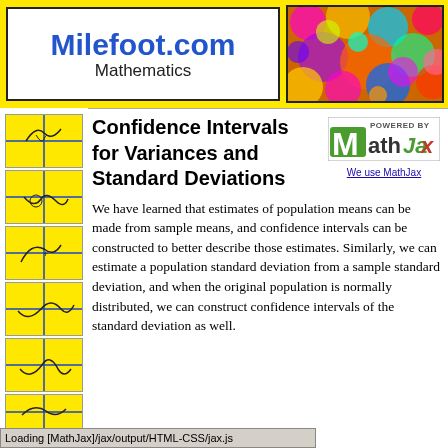Milefoot.com Mathematics
[Figure (illustration): Fractal colorful pattern image in top right of banner]
[Figure (illustration): Left navigation thumbnail images showing mathematical curve sketches on yellow background]
Confidence Intervals for Variances and Standard Deviations
[Figure (logo): Powered by MathJax logo badge with green M]
We use MathJax
We have learned that estimates of population means can be made from sample means, and confidence intervals can be constructed to better describe those estimates. Similarly, we can estimate a population standard deviation from a sample standard deviation, and when the original population is normally distributed, we can construct confidence intervals of the standard deviation as well.
Loading [MathJax]/jax/output/HTML-CSS/jax.js